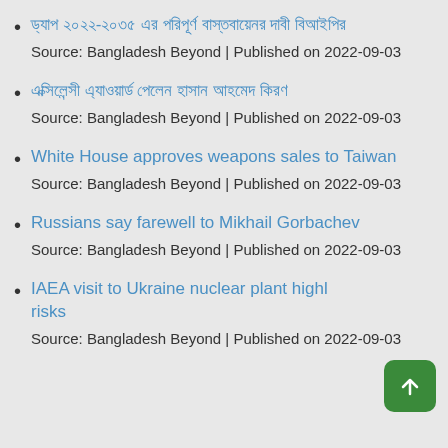ড্যাপ ২০২২-২০৩৫ এর পরিপূর্ণ বাস্তবায়েনর দাবী বিআইপির
Source: Bangladesh Beyond | Published on 2022-09-03
এক্সিলেন্সী এ্যাওয়ার্ড পেলেন হাসান আহমেদ কিরণ
Source: Bangladesh Beyond | Published on 2022-09-03
White House approves weapons sales to Taiwan
Source: Bangladesh Beyond | Published on 2022-09-03
Russians say farewell to Mikhail Gorbachev
Source: Bangladesh Beyond | Published on 2022-09-03
IAEA visit to Ukraine nuclear plant highlights risks
Source: Bangladesh Beyond | Published on 2022-09-03